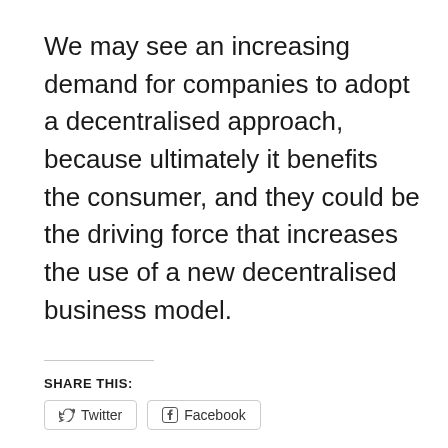We may see an increasing demand for companies to adopt a decentralised approach, because ultimately it benefits the consumer, and they could be the driving force that increases the use of a new decentralised business model.
SHARE THIS:
Twitter   Facebook